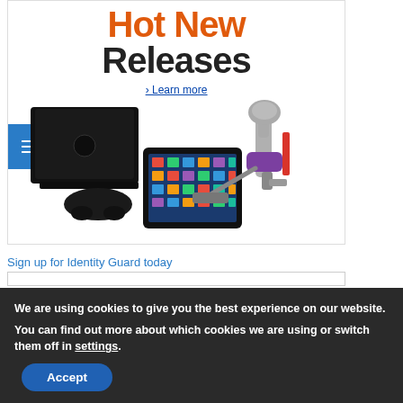[Figure (screenshot): Amazon 'Hot New Releases' promotional banner featuring a PS4 console, Kindle Fire tablet, and Dyson vacuum. Orange and black title text reads 'Hot New Releases' with a 'Learn more' link below.]
Sign up for Identity Guard today
We are using cookies to give you the best experience on our website.
You can find out more about which cookies we are using or switch them off in settings.
Accept